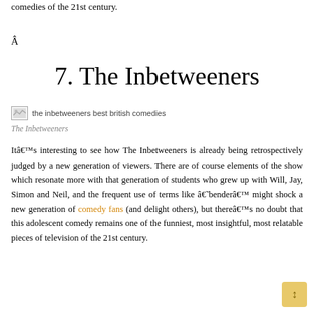comedies of the 21st century.
Â
7. The Inbetweeners
[Figure (photo): the inbetweeners best british comedies]
The Inbetweeners
Itâ€™s interesting to see how The Inbetweeners is already being retrospectively judged by a new generation of viewers. There are of course elements of the show which resonate more with that generation of students who grew up with Will, Jay, Simon and Neil, and the frequent use of terms like â€˜benderâ€™ might shock a new generation of comedy fans (and delight others), but thereâ€™s no doubt that this adolescent comedy remains one of the funniest, most insightful, most relatable pieces of television of the 21st century.